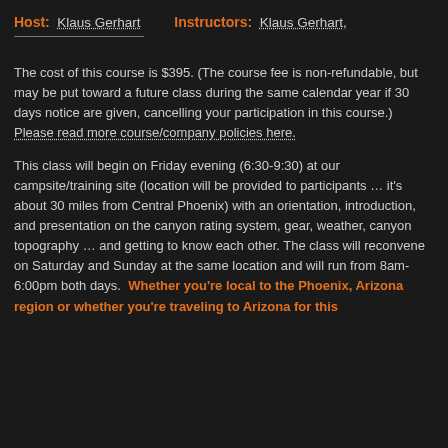Host: Klaus Gerhart    Instructors: Klaus Gerhart,
The cost of this course is $395. (The course fee is non-refundable, but may be put toward a future class during the same calendar year if 30 days notice are given, cancelling your participation in this course.)  Please read more course/company policies here.
This class will begin on Friday evening (6:30-9:30) at our campsite/training site (location will be provided to participants … it's about 30 miles from Central Phoenix) with an orientation, introduction, and presentation on the canyon rating system, gear, weather, canyon topography … and getting to know each other. The class will reconvene on Saturday and Sunday at the same location and will run from 8am-6:00pm both days. Whether you're local to the Phoenix, Arizona region or whether you're traveling to Arizona for this